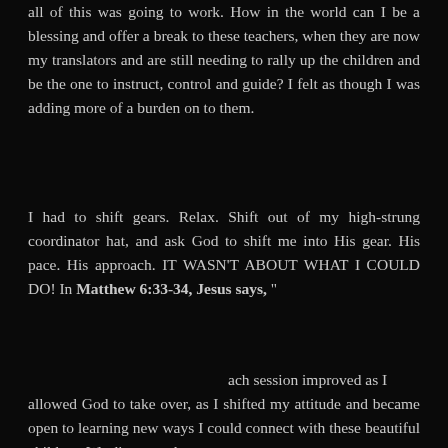all of this was going to work. How in the world can I be a blessing and offer a break to these teachers, when they are now my translators and are still needing to rally up the children and be the one to instruct, control and guide? I felt as though I was adding more of a burden on to them.
I had to shift gears. Relax. Shift out of my high-strung coordinator hat, and ask God to shift me into His gear. His pace. His approach. IT WASN'T ABOUT WHAT I COULD DO! In Matthew 6:33-34, Jesus says, "
ach session improved as I allowed God to take over, as I shifted my attitude and became open to learning new ways I could connect with these beautiful children. We discovered